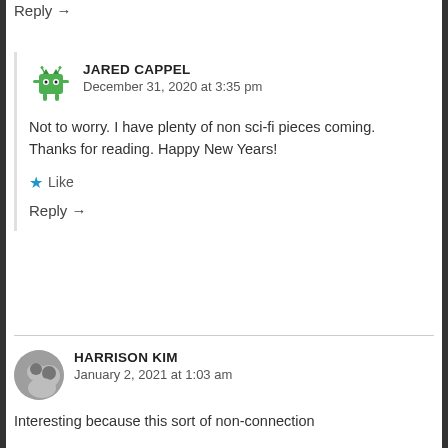Reply →
[Figure (illustration): Green cartoon monster avatar for Jared Cappel]
JARED CAPPEL
December 31, 2020 at 3:35 pm
Not to worry. I have plenty of non sci-fi pieces coming. Thanks for reading. Happy New Years!
★ Like
Reply →
[Figure (photo): Photo avatar of Harrison Kim]
HARRISON KIM
January 2, 2021 at 1:03 am
Interesting because this sort of non-connection